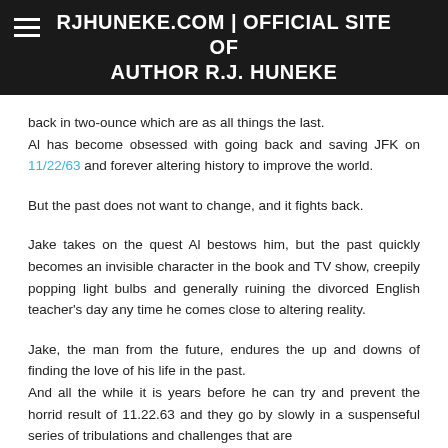RJHUNEKE.COM | OFFICIAL SITE OF AUTHOR R.J. HUNEKE
back in two-ounce which are as all things the last. Al has become obsessed with going back and saving JFK on 11/22/63 and forever altering history to improve the world.
But the past does not want to change, and it fights back.
Jake takes on the quest Al bestows him, but the past quickly becomes an invisible character in the book and TV show, creepily popping light bulbs and generally ruining the divorced English teacher's day any time he comes close to altering reality.
Jake, the man from the future, endures the up and downs of finding the love of his life in the past. And all the while it is years before he can try and prevent the horrid result of 11.22.63 and they go by slowly in a suspenseful series of tribulations and challenges that are